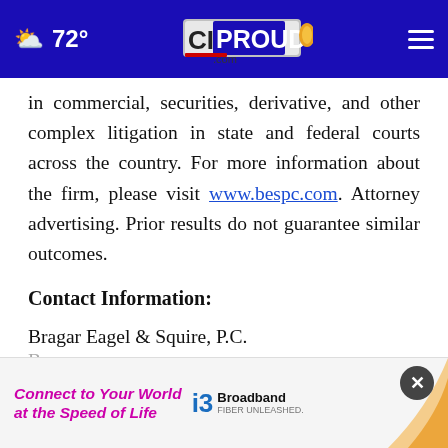72° CIPROUD.com
in commercial, securities, derivative, and other complex litigation in state and federal courts across the country. For more information about the firm, please visit www.bespc.com. Attorney advertising. Prior results do not guarantee similar outcomes.
Contact Information:
Bragar Eagel & Squire, P.C.
Branc
Melis
[Figure (other): i3 Broadband advertisement banner: 'Connect to Your World at the Speed of Life' with i3 Broadband logo and swoosh graphic, with close button (×)]